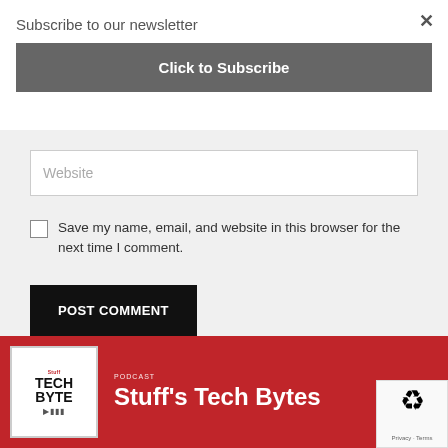Subscribe to our newsletter
[Figure (screenshot): Close button (×) in top-right corner]
Click to Subscribe
Website
Save my name, email, and website in this browser for the next time I comment.
POST COMMENT
[Figure (screenshot): Bottom banner showing Stuff's Tech Bytes podcast with red background, logo on left and title text on right. reCAPTCHA badge in bottom-right corner.]